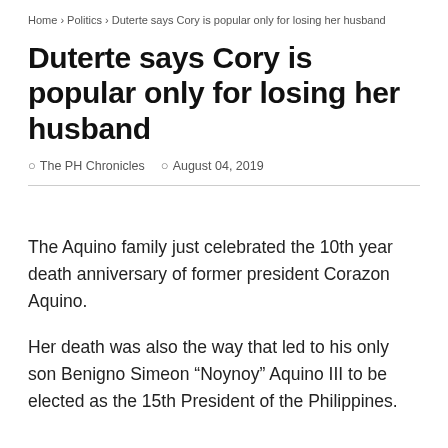Home > Politics > Duterte says Cory is popular only for losing her husband
Duterte says Cory is popular only for losing her husband
The PH Chronicles   August 04, 2019
The Aquino family just celebrated the 10th year death anniversary of former president Corazon Aquino.
Her death was also the way that led to his only son Benigno Simeon “Noynoy” Aquino III to be elected as the 15th President of the Philippines.